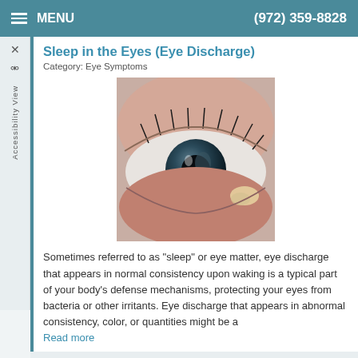MENU   (972) 359-8828
Sleep in the Eyes (Eye Discharge)
Category: Eye Symptoms
[Figure (photo): Close-up photograph of a human eye showing discharge/sleep in the corner of the eye with redness and irritation around the lower eyelid.]
Sometimes referred to as "sleep" or eye matter, eye discharge that appears in normal consistency upon waking is a typical part of your body's defense mechanisms, protecting your eyes from bacteria or other irritants. Eye discharge that appears in abnormal consistency, color, or quantities might be a
Read more
Red Eye